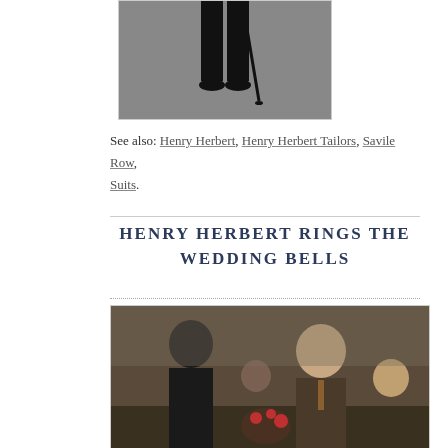[Figure (photo): Lower half of a person in formal black suit/morning dress with cane, against grey background]
See also: Henry Herbert, Henry Herbert Tailors, Savile Row, Suits.
HENRY HERBERT RINGS THE WEDDING BELLS
[Figure (photo): People at a wedding event indoors, smiling and interacting, warm atmosphere with flowers visible]